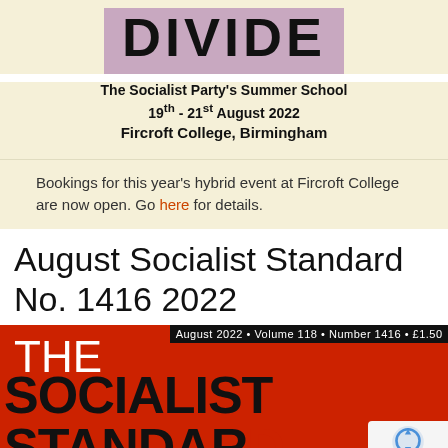DIVIDE
The Socialist Party's Summer School
19th - 21st August 2022
Fircroft College, Birmingham
Bookings for this year's hybrid event at Fircroft College are now open. Go here for details.
August Socialist Standard No. 1416 2022
[Figure (photo): Cover of The Socialist Standard magazine, August 2022, Volume 118, Number 1416, £1.50. Red background with large black bold text reading THE SOCIALIST STANDARD.]